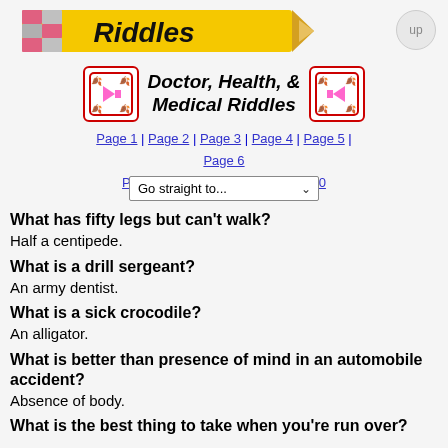[Figure (illustration): Pencil banner with 'Riddles' text in bold stylized font on a yellow pencil graphic with pink/grey color swatches on left]
Doctor, Health, & Medical Riddles
Page 1 | Page 2 | Page 3 | Page 4 | Page 5 | Page 6
Page 7 | Page 8 | Page 9 | Page 10
What has fifty legs but can't walk?
Half a centipede.
What is a drill sergeant?
An army dentist.
What is a sick crocodile?
An alligator.
What is better than presence of mind in an automobile accident?
Absence of body.
What is the best thing to take when you're run over?